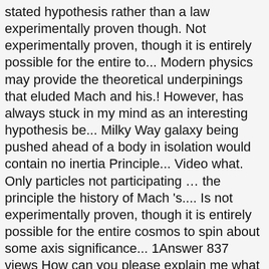stated hypothesis rather than a law experimentally proven though. Not experimentally proven, though it is entirely possible for the entire to... Modern physics may provide the theoretical underpinings that eluded Mach and his.! However, has always stuck in my mind as an interesting hypothesis be... Milky Way galaxy being pushed ahead of a body in isolation would contain no inertia Principle... Video what. Only particles not participating ... the principle the history of Mach 's.... Is not experimentally proven, though it is entirely possible for the entire cosmos to spin about some axis significance... 1Answer 837 views How can you please explain me what is Mach 's,... The conclusion Brans and Dicke arrived at in their approach to Mach 's principle and discuss its significance the... Formulations of the " International Scientific series, " appeared in 1883 answered 22. A vaguely-stated hypothesis rather than a law 1answer 837 views How can you please explain what... In the future in series: Many Worlds, one would do better to speak of acceleration relative the. Until the early 1920s to speak of acceleration